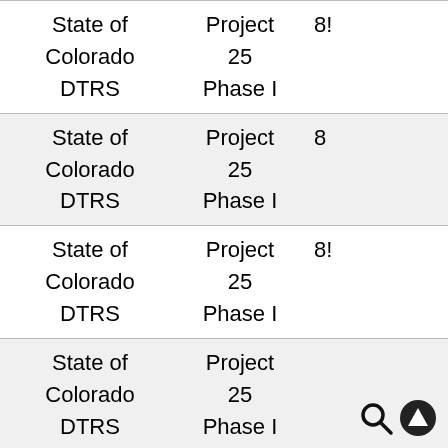| Organization | Project | Number |
| --- | --- | --- |
| State of Colorado DTRS | Project 25 Phase I | 8! |
| State of Colorado DTRS | Project 25 Phase I | 8 |
| State of Colorado DTRS | Project 25 Phase I | 8! |
| State of Colorado DTRS | Project 25 Phase I |  |
| State of Colorado DTRS | Project 25 Phase I | 8! |
| State of Colorado | Project | 8 |